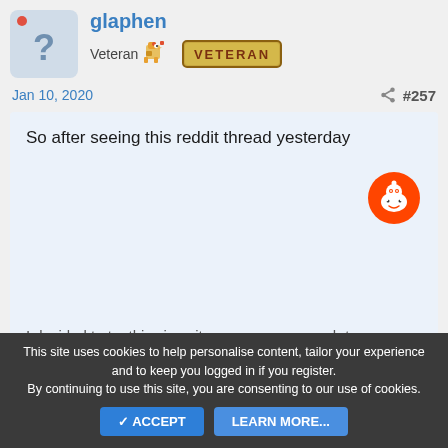glaphen
Veteran
[Figure (illustration): Veteran badge with pixel art chicken icon and golden banner reading VETERAN]
Jan 10, 2020
#257
So after seeing this reddit thread yesterday
[Figure (logo): Reddit alien logo orange circle icon]
I decided to try this since it seems easy enough to
This site uses cookies to help personalise content, tailor your experience and to keep you logged in if you register. By continuing to use this site, you are consenting to our use of cookies.